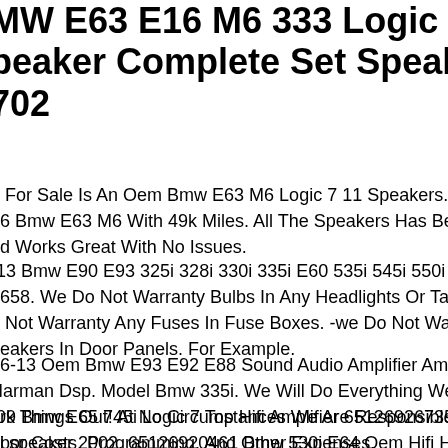BMW E63 E16 M6 333 Logic 7 11 Speaker Complete Set Speakers Oem 702
o For Sale Is An Oem Bmw E63 M6 Logic 7 11 Speakers. Donor Vehicle 06 Bmw E63 M6 With 49k Miles. All The Speakers Has Been Tested And Works Great With No Issues.
-13 Bmw E90 E93 325i 328i 330i 335i E60 535i 545i 550i Logic 7 Amp 5658. We Do Not Warranty Bulbs In Any Headlights Or Tail Lights. -we Do Not Warranty Any Fuses In Fuse Boxes. -we Do Not Warranty Speakers In Door Panels. For Example.
06-13 Oem Bmw E93 E92 E88 Sound Audio Amplifier Amp Top Logic Harman Dsp. Model Bmw 335i. We Will Do Everything We Can To Work Things Out! At No Circumstances We Are Responsible For Any Labor Costs, Programming, And Other Expenses.
-09 Bmw E65 745i Logic 7 Top Hifi Amplifier 65126926735. Bmw Bm 5i speaker 2002. 65126920461 Bmw 530i E64 Oem Hifi Harman